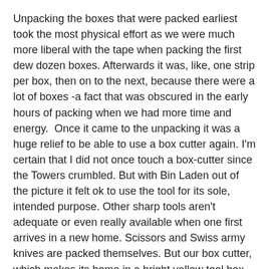Unpacking the boxes that were packed earliest took the most physical effort as we were much more liberal with the tape when packing the first dew dozen boxes. Afterwards it was, like, one strip per box, then on to the next, because there were a lot of boxes -a fact that was obscured in the early hours of packing when we had more time and energy.  Once it came to the unpacking it was a huge relief to be able to use a box cutter again. I'm certain that I did not once touch a box-cutter since the Towers crumbled. But with Bin Laden out of the picture it felt ok to use the tool for its sole, intended purpose. Other sharp tools aren't adequate or even really available when one first arrives in a new home. Scissors and Swiss army knives are packed themselves. But our box cutter, which makes its home in a bright yellow tool box, was readily available. My long-suffering box cutter, stained by the 9/11 hijackings, could rejoice at having its status restored as Useful Tool.
The dust has begun to settle and I'm very much enjoying the new Pinch kitchen and the patio garden that feeds it. More on those things soon.